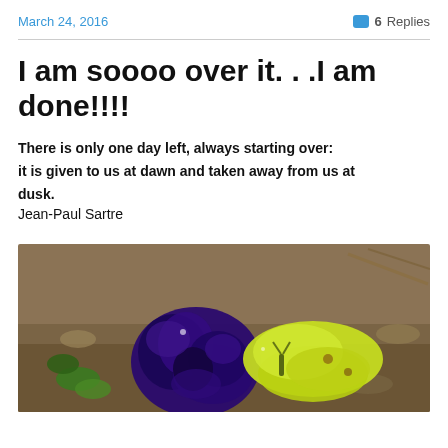March 24, 2016   6 Replies
I am soooo over it. . .I am done!!!!
There is only one day left, always starting over: it is given to us at dawn and taken away from us at dusk.
Jean-Paul Sartre
[Figure (photo): Close-up photo of a deep purple flower with a yellow-green butterfly resting on it, set against a sandy/rocky ground background.]